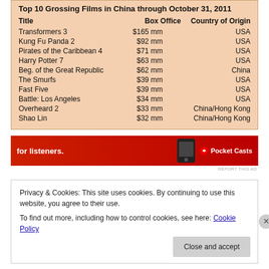| Title | Box Office | Country of Origin |
| --- | --- | --- |
| Transformers 3 | $165 mm | USA |
| Kung Fu Panda 2 | $92 mm | USA |
| Pirates of the Caribbean 4 | $71 mm | USA |
| Harry Potter 7 | $63 mm | USA |
| Beg. of the Great Republic | $62 mm | China |
| The Smurfs | $39 mm | USA |
| Fast Five | $39 mm | USA |
| Battle: Los Angeles | $34 mm | USA |
| Overheard 2 | $33 mm | China/Hong Kong |
| Shao Lin | $32 mm | China/Hong Kong |
[Figure (screenshot): Red advertisement banner for Pocket Casts with text 'for listeners.' and a phone image]
REPORT THIS AD
Privacy & Cookies: This site uses cookies. By continuing to use this website, you agree to their use.
To find out more, including how to control cookies, see here: Cookie Policy